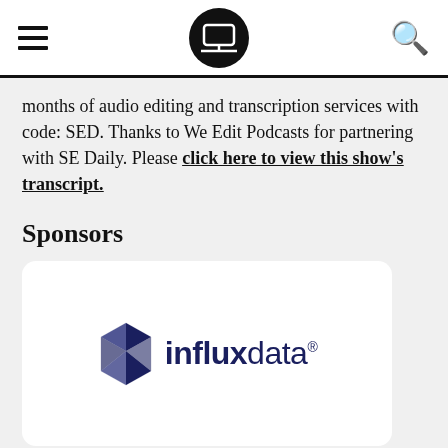[hamburger menu icon] [laptop logo icon] [search icon]
months of audio editing and transcription services with code: SED. Thanks to We Edit Podcasts for partnering with SE Daily. Please click here to view this show's transcript.
Sponsors
[Figure (logo): InfluxData logo: a dark blue geometric gem/crystal icon on the left, followed by the wordmark 'influxdata' with 'influx' in bold dark navy and 'data' in lighter weight, with a registered trademark symbol.]